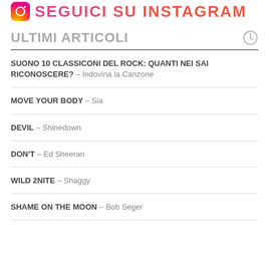SEGUICI SU INSTAGRAM
ULTIMI ARTICOLI
SUONO 10 CLASSICONI DEL ROCK: QUANTI NEI SAI RICONOSCERE? – Indovina la Canzone
MOVE YOUR BODY – Sia
DEVIL – Shinedown
DON'T – Ed Sheeran
WILD 2NITE – Shaggy
SHAME ON THE MOON – Bob Seger